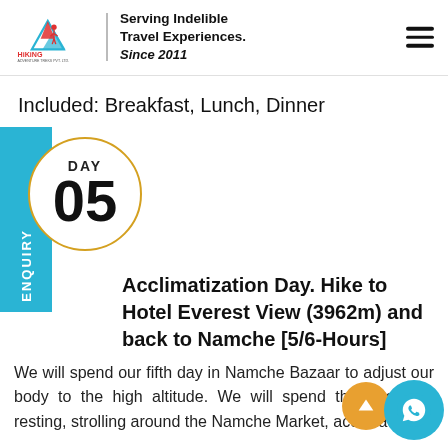Hiking Adventure Treks Pvt. Ltd. — Serving Indelible Travel Experiences. Since 2011
Included: Breakfast, Lunch, Dinner
DAY 05 — Acclimatization Day. Hike to Hotel Everest View (3962m) and back to Namche [5/6-Hours]
We will spend our fifth day in Namche Bazaar to adjust our body to the high altitude. We will spend the free time resting, strolling around the Namche Market, acclimati...